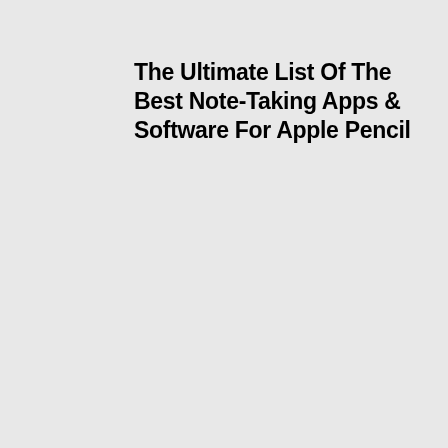The Ultimate List Of The Best Note-Taking Apps & Software For Apple Pencil